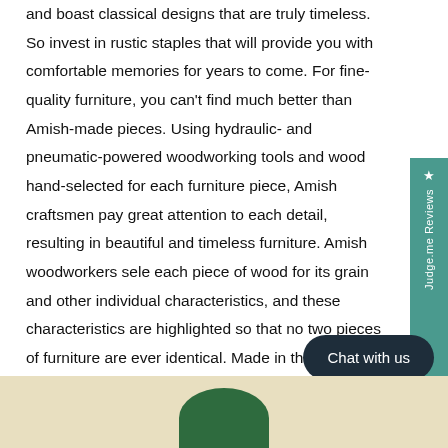and boast classical designs that are truly timeless. So invest in rustic staples that will provide you with comfortable memories for years to come. For fine-quality furniture, you can't find much better than Amish-made pieces. Using hydraulic- and pneumatic-powered woodworking tools and wood hand-selected for each furniture piece, Amish craftsmen pay great attention to each detail, resulting in beautiful and timeless furniture. Amish woodworkers select each piece of wood for its grain and other individual characteristics, and these characteristics are highlighted so that no two pieces of furniture are ever identical. Made in the heart of Pennsylvania by these dedicated workers, each piece of A and L's furniture is sure to become a treasured heirloom for your family.
[Figure (other): Judge.me Reviews sidebar tab with star icon, teal/green background, rotated text reading 'Judge.me Reviews']
[Figure (other): Dark navy rounded pill-shaped chat button reading 'Chat with us']
[Figure (other): Bottom strip with beige/tan background and partial green circular logo at bottom center]